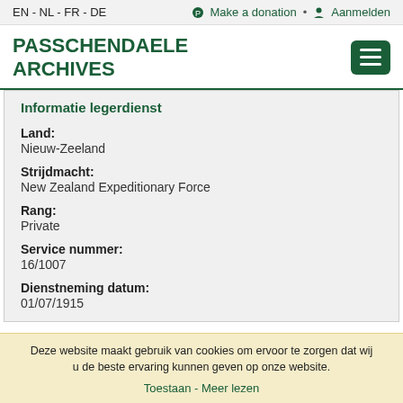EN - NL - FR - DE   Make a donation • Aanmelden
PASSCHENDAELE ARCHIVES
Informatie legerdienst
Land:
Nieuw-Zeeland
Strijdmacht:
New Zealand Expeditionary Force
Rang:
Private
Service nummer:
16/1007
Dienstneming datum:
01/07/1915
Deze website maakt gebruik van cookies om ervoor te zorgen dat wij u de beste ervaring kunnen geven op onze website.
Toestaan - Meer lezen